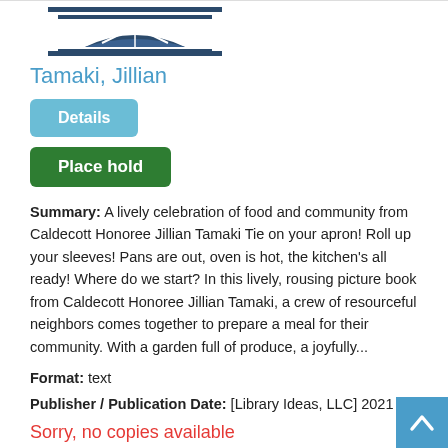[Figure (logo): Library logo with open book and horizontal lines above and below]
Tamaki, Jillian
Details
Place hold
Summary: A lively celebration of food and community from Caldecott Honoree Jillian Tamaki Tie on your apron! Roll up your sleeves! Pans are out, oven is hot, the kitchen's all ready! Where do we start? In this lively, rousing picture book from Caldecott Honoree Jillian Tamaki, a crew of resourceful neighbors comes together to prepare a meal for their community. With a garden full of produce, a joyfully...
Format: text
Publisher / Publication Date: [Library Ideas, LLC] 2021
Sorry, no copies available
Place a hold to request this item.